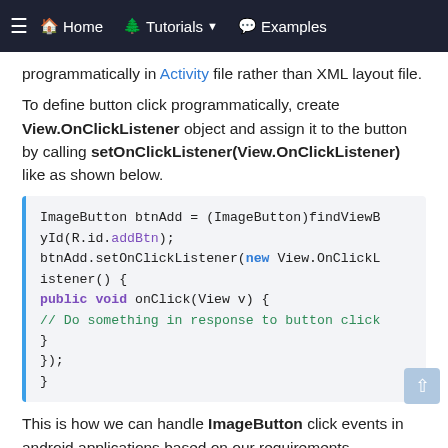≡  🏠 Home    🌲 Tutorials ▾    💬 Examples
programmatically in Activity file rather than XML layout file.
To define button click programmatically, create View.OnClickListener object and assign it to the button by calling setOnClickListener(View.OnClickListener) like as shown below.
[Figure (screenshot): Code block showing Android Java code: ImageButton btnAdd = (ImageButton)findViewById(R.id.addBtn); btnAdd.setOnClickListener(new View.OnClickListener() { public void onClick(View v) { // Do something in response to button click } }); }]
This is how we can handle ImageButton click events in android applications based on our requirements.